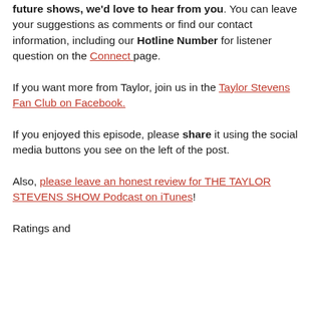future shows, we'd love to hear from you. You can leave your suggestions as comments or find our contact information, including our Hotline Number for listener question on the Connect page.
If you want more from Taylor, join us in the Taylor Stevens Fan Club on Facebook.
If you enjoyed this episode, please share it using the social media buttons you see on the left of the post.
Also, please leave an honest review for THE TAYLOR STEVENS SHOW Podcast on iTunes!
Ratings and